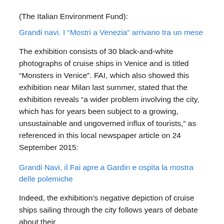(The Italian Environment Fund):
Grandi navi. I “Mostri a Venezia” arrivano tra un mese
The exhibition consists of 30 black-and-white photographs of cruise ships in Venice and is titled “Monsters in Venice”. FAI, which also showed this exhibition near Milan last summer, stated that the exhibition reveals “a wider problem involving the city, which has for years been subject to a growing, unsustainable and ungoverned influx of tourists,” as referenced in this local newspaper article on 24 September 2015:
Grandi Navi, il Fai apre a Gardin e ospita la mostra delle polemiche
Indeed, the exhibition’s negative depiction of cruise ships sailing through the city follows years of debate about their